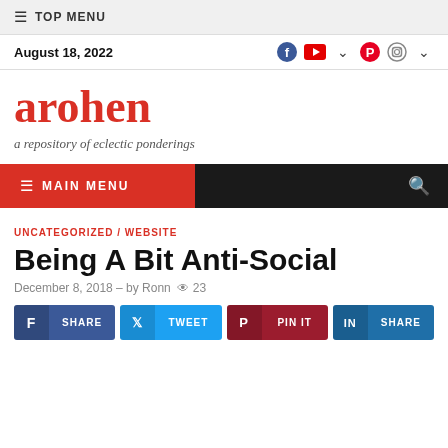≡ TOP MENU
August 18, 2022
arohen
a repository of eclectic ponderings
≡ MAIN MENU
UNCATEGORIZED / WEBSITE
Being A Bit Anti-Social
December 8, 2018 - by Ronn  23
SHARE | TWEET | PIN IT | SHARE